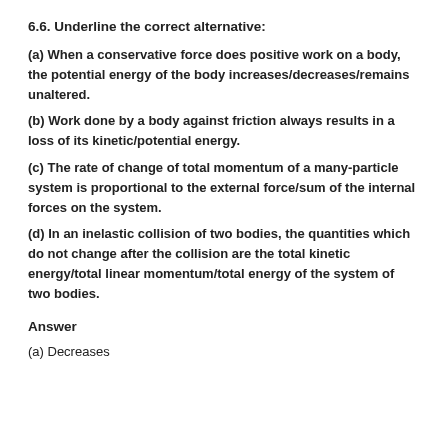6.6. Underline the correct alternative:
(a) When a conservative force does positive work on a body, the potential energy of the body increases/decreases/remains unaltered.
(b) Work done by a body against friction always results in a loss of its kinetic/potential energy.
(c) The rate of change of total momentum of a many-particle system is proportional to the external force/sum of the internal forces on the system.
(d) In an inelastic collision of two bodies, the quantities which do not change after the collision are the total kinetic energy/total linear momentum/total energy of the system of two bodies.
Answer
(a) Decreases